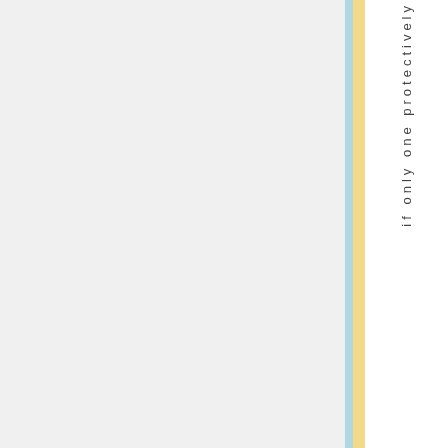if only one protectively
[Figure (other): Light gray blank area taking up main left portion of the page, with a light blue vertical stripe, a yellow/gold vertical stripe, and a white column on the far right containing vertically-oriented text reading 'if only one protectively']